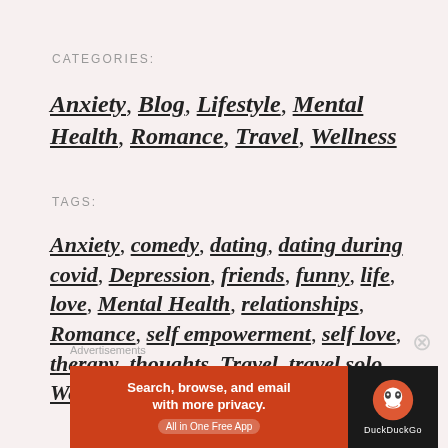CATEGORIES:
Anxiety, Blog, Lifestyle, Mental Health, Romance, Travel, Wellness
TAGS:
Anxiety, comedy, dating, dating during covid, Depression, friends, funny, life, love, Mental Health, relationships, Romance, self empowerment, self love, therapy, thoughts, Travel, travel solo, Wellness, women
Advertisements
[Figure (other): DuckDuckGo advertisement banner: Search, browse, and email with more privacy. All in One Free App. DuckDuckGo logo on dark background.]